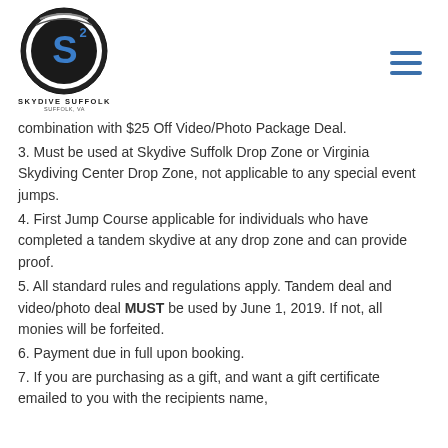[Figure (logo): Skydive Suffolk logo with circular emblem containing stylized S2 letter in blue, with black and white circular border, and 'Skydive Suffolk, Suffolk, VA' text below]
combination with $25 Off Video/Photo Package Deal.
3. Must be used at Skydive Suffolk Drop Zone or Virginia Skydiving Center Drop Zone, not applicable to any special event jumps.
4. First Jump Course applicable for individuals who have completed a tandem skydive at any drop zone and can provide proof.
5. All standard rules and regulations apply. Tandem deal and video/photo deal MUST be used by June 1, 2019. If not, all monies will be forfeited.
6. Payment due in full upon booking.
7. If you are purchasing as a gift, and want a gift certificate emailed to you with the recipients name,